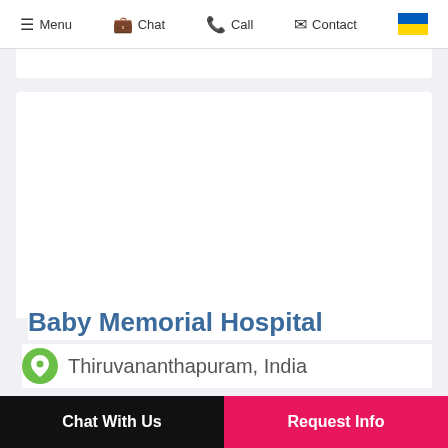Menu  Chat  Call  Contact
[Figure (screenshot): White content area / blank image placeholder for hospital]
Baby Memorial Hospital
Thiruvananthapuram, India
Chat With Us    Request Info